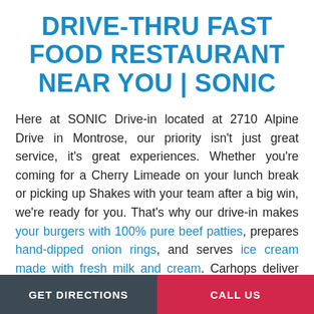DRIVE-THRU FAST FOOD RESTAURANT NEAR YOU | SONIC
Here at SONIC Drive-in located at 2710 Alpine Drive in Montrose, our priority isn't just great service, it's great experiences. Whether you're coming for a Cherry Limeade on your lunch break or picking up Shakes with your team after a big win, we're ready for you. That's why our drive-in makes your burgers with 100% pure beef patties, prepares hand-dipped onion rings, and serves ice cream made with fresh milk and cream. Carhops deliver orders with a smile because "This is
GET DIRECTIONS    CALL US